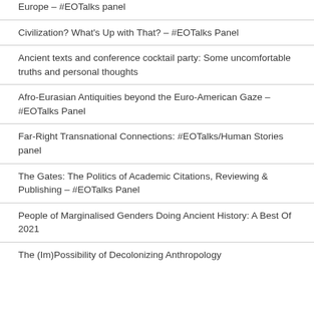Europe – #EOTalks panel
Civilization? What's Up with That? – #EOTalks Panel
Ancient texts and conference cocktail party: Some uncomfortable truths and personal thoughts
Afro-Eurasian Antiquities beyond the Euro-American Gaze – #EOTalks Panel
Far-Right Transnational Connections: #EOTalks/Human Stories panel
The Gates: The Politics of Academic Citations, Reviewing & Publishing – #EOTalks Panel
People of Marginalised Genders Doing Ancient History: A Best Of 2021
The (Im)Possibility of Decolonizing Anthropology